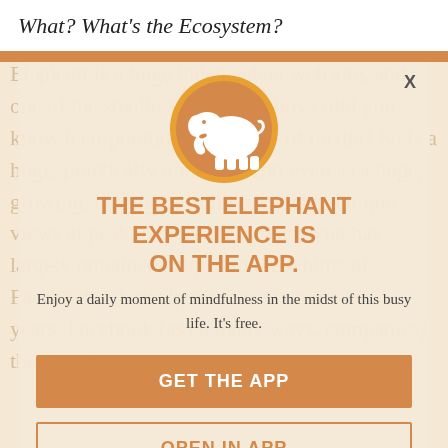What? What's the Ecosystem?
[Figure (logo): White elephant silhouette on an orange circle, serving as the Elephant Journal app logo]
THE BEST ELEPHANT EXPERIENCE IS ON THE APP.
Enjoy a daily moment of mindfulness in the midst of this busy life. It's free.
GET THE APP
OPEN IN APP